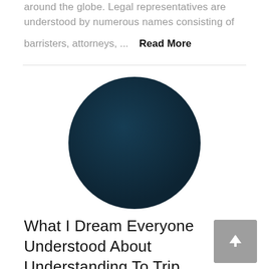around the globe. Legal representatives are understood by numerous names consisting of barristers, attorneys, ...
Read More
[Figure (illustration): A large dark navy blue circle, used as a thumbnail or decorative image for a blog post or article.]
What I Dream Everyone Understood About Understanding To Trip.